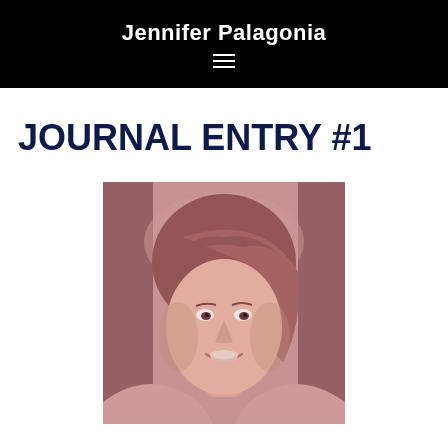Jennifer Palagonia
JOURNAL ENTRY #1
[Figure (photo): A smiling woman with shoulder-length hair, photographed in a warm reddish-pink duotone style, appearing to be indoors.]